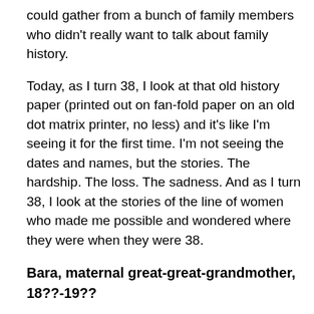could gather from a bunch of family members who didn't really want to talk about family history.
Today, as I turn 38, I look at that old history paper (printed out on fan-fold paper on an old dot matrix printer, no less) and it's like I'm seeing it for the first time. I'm not seeing the dates and names, but the stories. The hardship. The loss. The sadness. And as I turn 38, I look at the stories of the line of women who made me possible and wondered where they were when they were 38.
Bara, maternal great-great-grandmother, 18??-19??
Though I'm not quite sure of her birthdate, I know my great-great-grandmother Bara had experienced much loss by the time she turned 38.
Bara Dolinar and the man she would marry, Stiepan